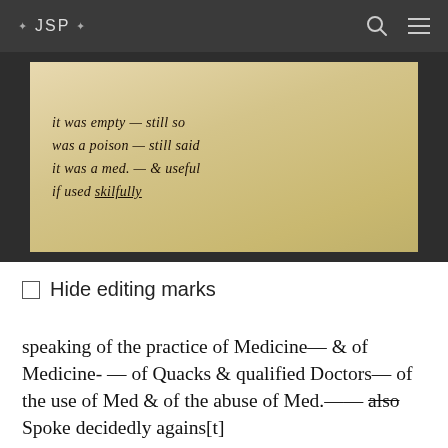❖ JSP ❖
[Figure (photo): A photograph of a handwritten manuscript page. The cursive text reads: 'it was empty — still so was a poison — still said it was a med. — & useful if used skilfully']
□ Hide editing marks
speaking of the practice of Medicine— & of Medicine- — of Quacks & qualified Doctors— of the use of Med & of the abuse of Med.—— also Spoke decidedly agains[t] Dr Brinks [William Brink's] practice — spoke